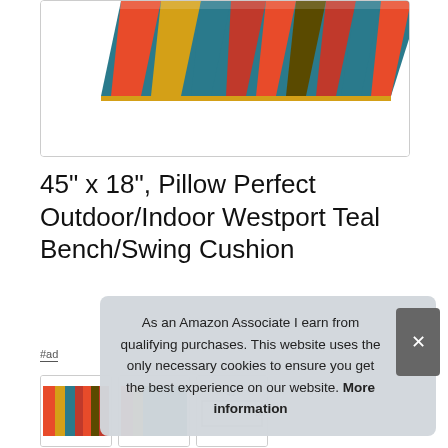[Figure (photo): Striped bench/swing cushion with teal, red, orange, and olive stripes, shown at an angle. Partial view cropped at top.]
45" x 18", Pillow Perfect Outdoor/Indoor Westport Teal Bench/Swing Cushion
#ad
As an Amazon Associate I earn from qualifying purchases. This website uses the only necessary cookies to ensure you get the best experience on our website. More information
[Figure (photo): Thumbnail images of the bench/swing cushion product from various angles.]